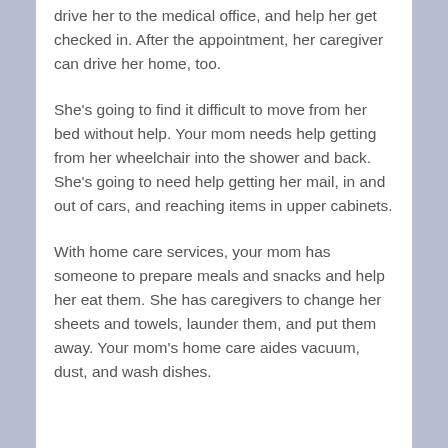drive her to the medical office, and help her get checked in. After the appointment, her caregiver can drive her home, too.
She's going to find it difficult to move from her bed without help. Your mom needs help getting from her wheelchair into the shower and back. She's going to need help getting her mail, in and out of cars, and reaching items in upper cabinets.
With home care services, your mom has someone to prepare meals and snacks and help her eat them. She has caregivers to change her sheets and towels, launder them, and put them away. Your mom's home care aides vacuum, dust, and wash dishes.